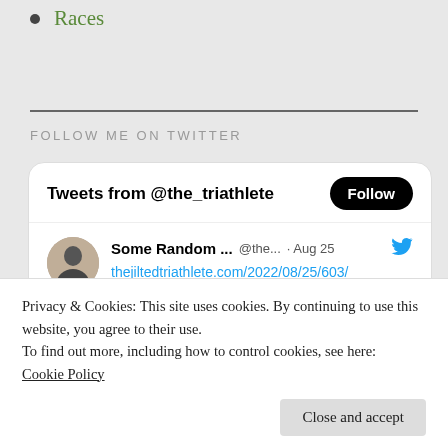Races
FOLLOW ME ON TWITTER
[Figure (screenshot): Twitter widget showing Tweets from @the_triathlete with a Follow button, and a tweet from 'Some Random ...' @the... Aug 25 with link thejiltedtriathlete.com/2022/08/25/603/]
Privacy & Cookies: This site uses cookies. By continuing to use this website, you agree to their use.
To find out more, including how to control cookies, see here:
Cookie Policy
Close and accept